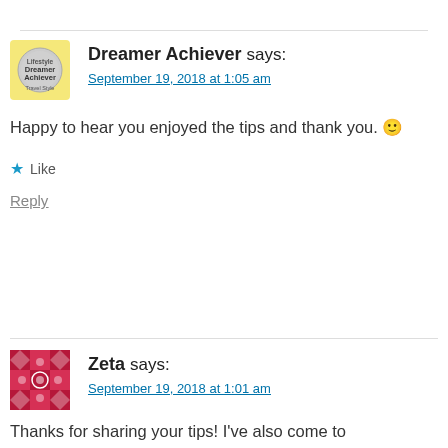Dreamer Achiever says: September 19, 2018 at 1:05 am
Happy to hear you enjoyed the tips and thank you. 🙂
Like
Reply
Zeta says: September 19, 2018 at 1:01 am
Thanks for sharing your tips! I've also come to